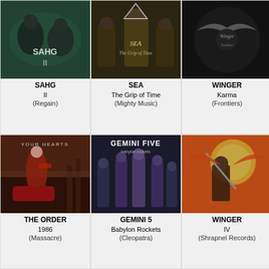[Figure (photo): Album cover for SAHG - II]
SAHG
II
(Regain)
[Figure (photo): Album cover for SEA - The Grip of Time]
SEA
The Grip of Time
(Mighty Music)
[Figure (photo): Album cover for WINGER - Karma]
WINGER
Karma
(Frontiers)
[Figure (photo): Album cover for THE ORDER - 1986]
THE ORDER
1986
(Massacre)
[Figure (photo): Album cover for GEMINI 5 - Babylon Rockets]
GEMINI 5
Babylon Rockets
(Cleopatra)
[Figure (photo): Album cover for WINGER - IV]
WINGER
IV
(Shrapnel Records)